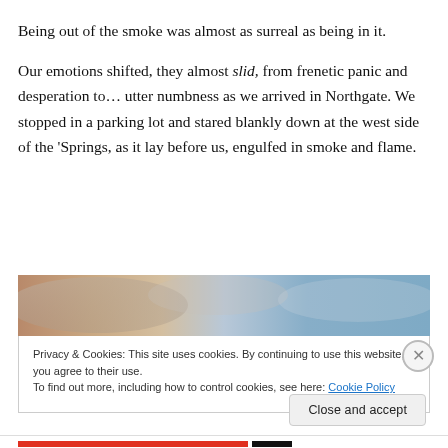Being out of the smoke was almost as surreal as being in it.
Our emotions shifted, they almost slid, from frenetic panic and desperation to… utter numbness as we arrived in Northgate. We stopped in a parking lot and stared blankly down at the west side of the ‘Springs, as it lay before us, engulfed in smoke and flame.
[Figure (photo): Partial photo showing a smoky/hazy sky with brownish and blue tones, partially obscured by a cookie consent banner overlay.]
Privacy & Cookies: This site uses cookies. By continuing to use this website, you agree to their use.
To find out more, including how to control cookies, see here: Cookie Policy
Close and accept